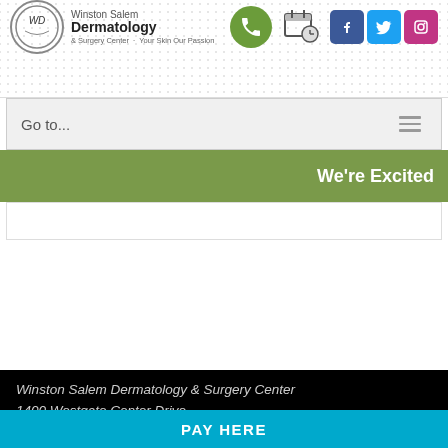[Figure (logo): Winston Salem Dermatology & Surgery Center logo with circular WD monogram]
[Figure (illustration): Green phone icon, calendar/appointment icon, and Facebook, Twitter, Instagram social media icons]
Go to...
We're Excited
Winston Salem Dermatology & Surgery Center
1400 Westgate Center Drive,
Suite 200 - Winston Salem, NC 27103
PAY HERE